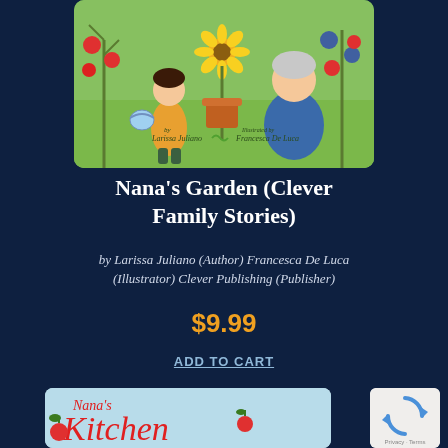[Figure (illustration): Book cover illustration of a young girl and a grandmother in a colorful garden with tomatoes, sunflowers, and other plants. Text on cover: 'by Larissa Juliano' and 'Illustrated by Francesca De Luca']
Nana's Garden (Clever Family Stories)
by Larissa Juliano (Author) Francesca De Luca (Illustrator) Clever Publishing (Publisher)
$9.99
ADD TO CART
[Figure (illustration): Partial book cover for Nana's Kitchen with red script text and tomato illustrations on a light blue background]
[Figure (other): reCAPTCHA widget showing recycled arrows icon with Privacy and Terms links]